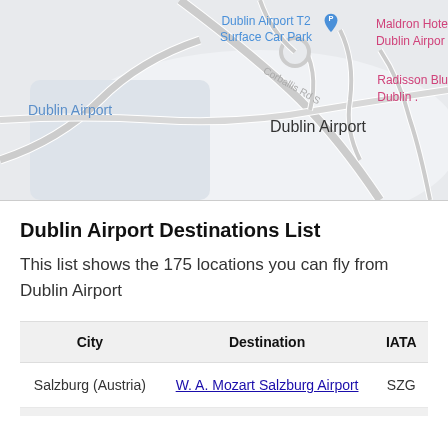[Figure (map): Google Maps view of Dublin Airport area showing T2 Surface Car Park, Corballis Rd S road label, Dublin Airport labels, Maldron Hotel Dublin Airport, and Radisson Blu Dublin labels]
Dublin Airport Destinations List
This list shows the 175 locations you can fly from Dublin Airport
| City | Destination | IATA |
| --- | --- | --- |
| Salzburg (Austria) | W. A. Mozart Salzburg Airport | SZG |